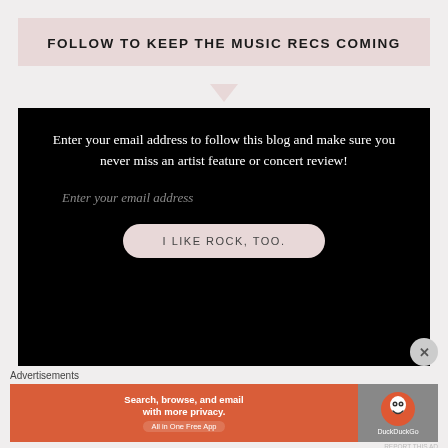FOLLOW TO KEEP THE MUSIC RECS COMING
Enter your email address to follow this blog and make sure you never miss an artist feature or concert review!
Enter your email address
I LIKE ROCK, TOO.
Advertisements
[Figure (other): DuckDuckGo advertisement banner: Search, browse, and email with more privacy. All in One Free App. DuckDuckGo logo on right.]